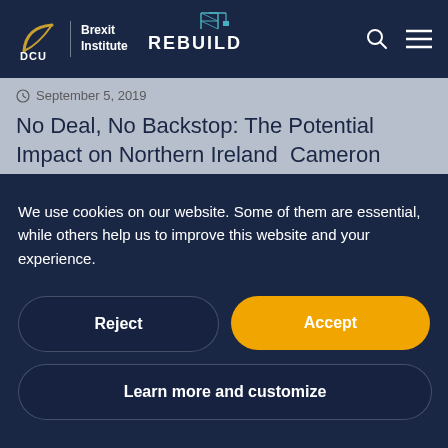DCU Brexit Institute — REBUILD
September 5, 2019
No Deal, No Backstop: The Potential Impact on Northern Ireland  Cameron Boyle (Immigration Advice Service) As we hurtle towards our Brexit deadline of the 31st of October, the prospect of
We use cookies on our website. Some of them are essential, while others help us to improve this website and your experience.
Reject
Accept
Learn more and customize